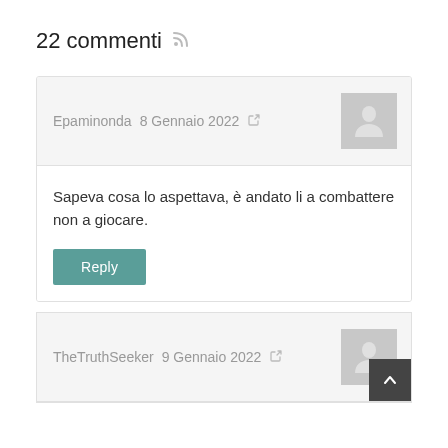22 commenti
Epaminonda  8 Gennaio 2022
Sapeva cosa lo aspettava, è andato li a combattere non a giocare.
Reply
TheTruthSeeker  9 Gennaio 2022